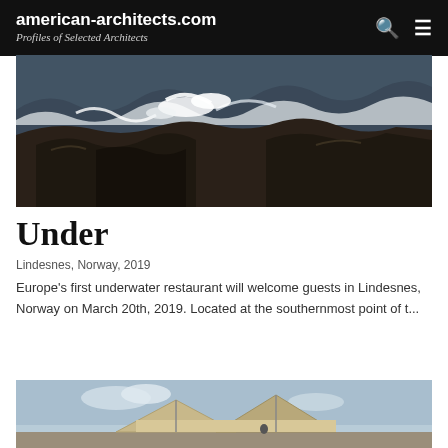american-architects.com
Profiles of Selected Architects
[Figure (photo): Rocky coastal scene with ocean waves crashing against dark rocks, dramatic seascape photography]
Under
Lindesnes, Norway, 2019
Europe's first underwater restaurant will welcome guests in Lindesnes, Norway on March 20th, 2019. Located at the southernmost point of t...
[Figure (photo): Architectural exterior photograph showing a modern building with angular roof structure against a blue sky]